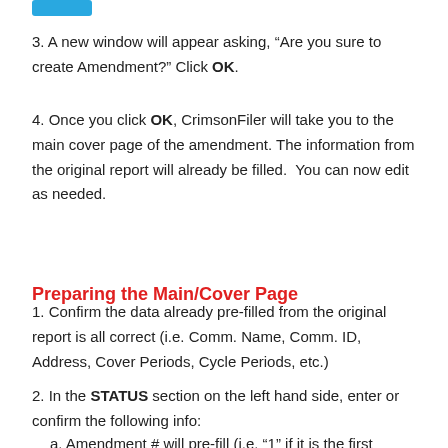[Figure (screenshot): Small blue button at top of page]
3. A new window will appear asking, “Are you sure to create Amendment?” Click OK.
4. Once you click OK, CrimsonFiler will take you to the main cover page of the amendment. The information from the original report will already be filled.  You can now edit as needed.
Preparing the Main/Cover Page
1. Confirm the data already pre-filled from the original report is all correct (i.e. Comm. Name, Comm. ID, Address, Cover Periods, Cycle Periods, etc.)
2. In the STATUS section on the left hand side, enter or confirm the following info:
a. Amendment # will pre-fill (i.e. “1” if it is the first amendment to